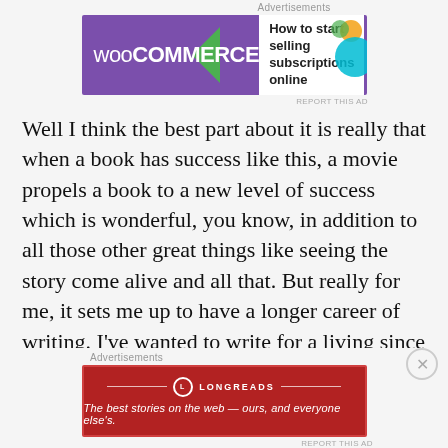Advertisements
[Figure (illustration): WooCommerce advertisement banner: purple background with WooCommerce logo on left, green arrow shape, white panel on right with text 'How to start selling subscriptions online'. Colorful decorative shapes in corner.]
Well I think the best part about it is really that when a book has success like this, a movie propels a book to a new level of success which is wonderful, you know, in addition to all those other great things like seeing the story come alive and all that. But really for me, it sets me up to have a longer career of writing. I've wanted to write for a living since I was 11. So to have kind of career stability has been a great life change as a result of all this. But as far as anything else goes, I mean, I kept my life as similar as possible. I live a pretty quiet life out there in
Advertisements
[Figure (illustration): Longreads advertisement: dark red/crimson background, Longreads logo at top center with circular icon and horizontal rules, tagline 'The best stories on the web — ours, and everyone else's.' in italic white text.]